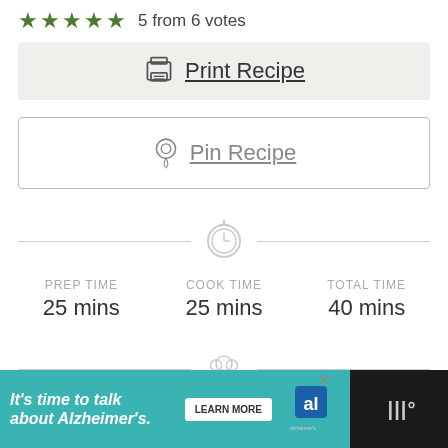5 from 6 votes
Print Recipe
Pin Recipe
PREP TIME 25 mins
COOK TIME 25 mins
TOTAL TIME 40 mins
COURSE Dessert
CUISINE American
It's time to talk about Alzheimer's. LEARN MORE